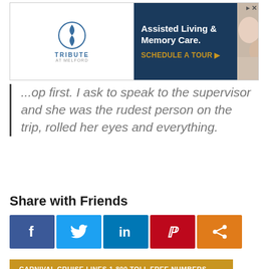[Figure (other): Advertisement banner for Tribute at Melford - Assisted Living & Memory Care with Schedule a Tour call to action]
...op first. I ask to speak to the supervisor and she was the rudest person on the trip, rolled her eyes and everything.
Share with Friends
[Figure (infographic): Social media sharing buttons: Facebook, Twitter, LinkedIn, Pinterest, Share]
CARNIVAL CRUISE LINES 1-800 TOLL FREE NUMBERS
CARNIVAL CRUISE LINES CUSTOMER SERVICE
CARNIVAL CRUISE LINES HEADQUARTERS INFORMATION
CARNIVAL CRUISE LINES PHONE NUMBERS